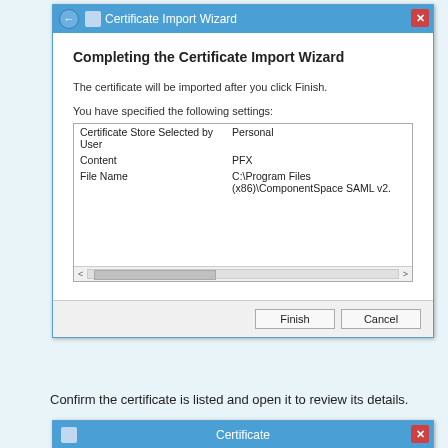[Figure (screenshot): Windows Certificate Import Wizard dialog showing 'Completing the Certificate Import Wizard' screen with settings table listing Certificate Store as Personal, Content as PFX, and File Name as C:\Program Files (x86)\ComponentSpace SAML v2... with Finish and Cancel buttons.]
Confirm the certificate is listed and open it to review its details.
[Figure (screenshot): Windows Certificate dialog (partially visible), showing title bar with 'Certificate' and close button.]